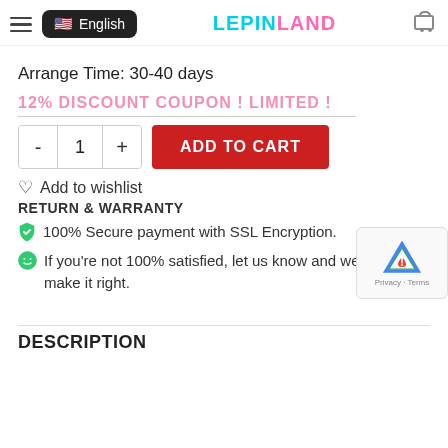LEPIN LAND — English language selector and cart icon
Arrange Time: 30-40 days
12% DISCOUNT COUPON ! LIMITED !
ADD TO CART (quantity selector with - 1 + and ADD TO CART button)
Add to wishlist
RETURN & WARRANTY
100% Secure payment with SSL Encryption.
If you're not 100% satisfied, let us know and we'll make it right.
DESCRIPTION